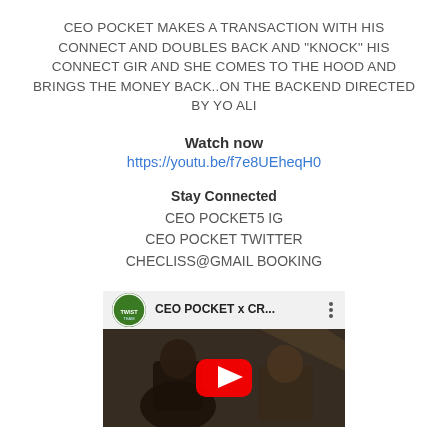CEO POCKET MAKES A TRANSACTION WITH HIS CONNECT AND DOUBLES BACK AND "KNOCK" HIS CONNECT GIR AND SHE COMES TO THE HOOD AND BRINGS THE MONEY BACK..ON THE BACKEND DIRECTED BY YO ALI
Watch now
https://youtu.be/f7e8UEheqH0
Stay Connected
CEO POCKET5 IG
CEO POCKET TWITTER
CHECLISS@GMAIL BOOKING
[Figure (screenshot): YouTube video thumbnail showing CEO POCKET x CR... video with two people in a dark setting, YouTube play button overlay, and Twist Team channel icon]